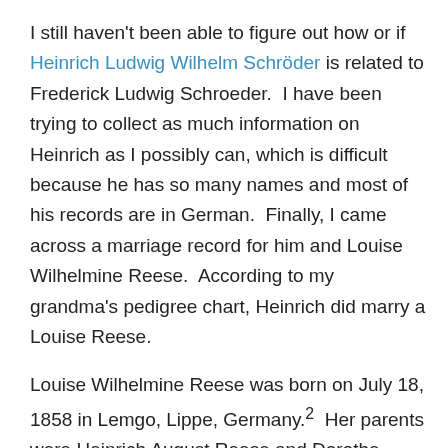I still haven't been able to figure out how or if Heinrich Ludwig Wilhelm Schröder is related to Frederick Ludwig Schroeder. I have been trying to collect as much information on Heinrich as I possibly can, which is difficult because he has so many names and most of his records are in German. Finally, I came across a marriage record for him and Louise Wilhelmine Reese. According to my grandma's pedigree chart, Heinrich did marry a Louise Reese.
Louise Wilhelmine Reese was born on July 18, 1858 in Lemgo, Lippe, Germany.2 Her parents were Heinrich August Reese and Dorothe Henriette Catharine Sasse.1,2 She was christened on August 8, 1858 at Sankt Nicolai Evangelisch in Lemgo.1 Louise married Heinrich Ludwig Wilhelm Schröder on January 26, 1882, also at Sankt